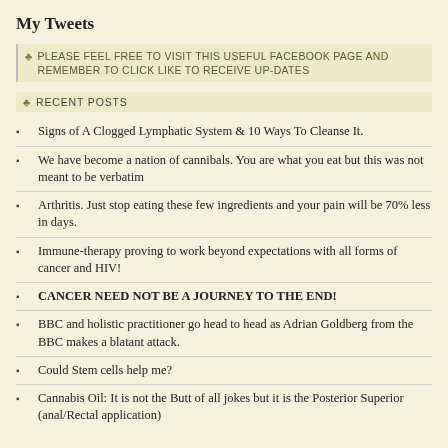My Tweets
♣ PLEASE FEEL FREE TO VISIT THIS USEFUL FACEBOOK PAGE AND REMEMBER TO CLICK LIKE TO RECEIVE UP-DATES
♣ RECENT POSTS
Signs of A Clogged Lymphatic System & 10 Ways To Cleanse It.
We have become a nation of cannibals. You are what you eat but this was not meant to be verbatim
Arthritis. Just stop eating these few ingredients and your pain will be 70% less in days.
Immune-therapy proving to work beyond expectations with all forms of cancer and HIV!
CANCER NEED NOT BE A JOURNEY TO THE END!
BBC and holistic practitioner go head to head as Adrian Goldberg from the BBC makes a blatant attack.
Could Stem cells help me?
Cannabis Oil: It is not the Butt of all jokes but it is the Posterior Superior (anal/Rectal application)